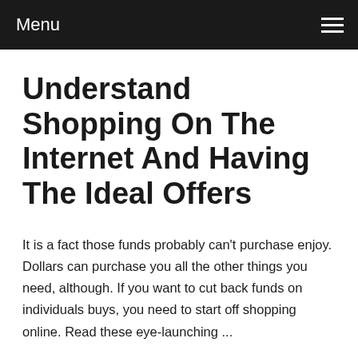Menu
Understand Shopping On The Internet And Having The Ideal Offers
It is a fact those funds probably can't purchase enjoy. Dollars can purchase you all the other things you need, although. If you want to cut back funds on individuals buys, you need to start off shopping online. Read these eye-launching ...
Read more